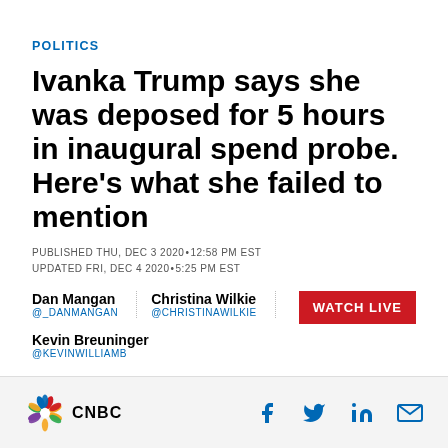POLITICS
Ivanka Trump says she was deposed for 5 hours in inaugural spend probe. Here’s what she failed to mention
PUBLISHED THU, DEC 3 2020•12:58 PM EST
UPDATED FRI, DEC 4 2020•5:25 PM EST
Dan Mangan
@_DANMANGAN
Christina Wilkie
@CHRISTINAWILKIE
[Figure (other): WATCH LIVE button in red]
Kevin Breuninger
@KEVINWILLIAMB
[Figure (logo): CNBC peacock logo and CNBC wordmark]
[Figure (other): Social media share icons: Facebook, Twitter, LinkedIn, Email]